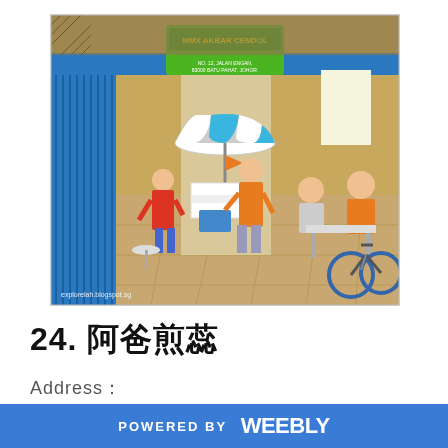[Figure (photo): Interior of a Malaysian cendol food stall named 'MMX Akbar Cendol' located at No. 12, Jalan Engan, 83000 Batu Pahat, Johor. Shows a shop front with blue shutters, a striped umbrella over a food cart, customers dining at tables, and a bicycle parked on the right. Watermark reads explorelah.blogspot.sg]
24. 阿爸煎蕊
Address：
POWERED BY weebly